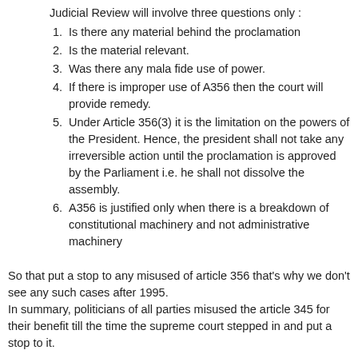Judicial Review will involve three questions only :
1. Is there any material behind the proclamation
2. Is the material relevant.
3. Was there any mala fide use of power.
4. If there is improper use of A356 then the court will provide remedy.
5. Under Article 356(3) it is the limitation on the powers of the President. Hence, the president shall not take any irreversible action until the proclamation is approved by the Parliament i.e. he shall not dissolve the assembly.
6. A356 is justified only when there is a breakdown of constitutional machinery and not administrative machinery
So that put a stop to any misused of article 356 that's why we don't see any such cases after 1995.
In summary, politicians of all parties misused the article 345 for their benefit till the time the supreme court stepped in and put a stop to it.